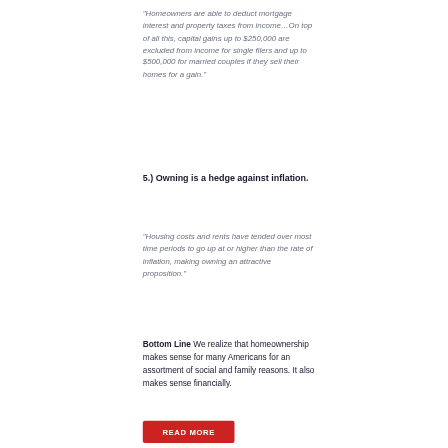“Homeowners are able to deduct mortgage interest and property taxes from income…On top of all this, capital gains up to $250,000 are excluded from income for single filers and up to $500,000 for married couples if they sell their homes for a gain.”
5.) Owning is a hedge against inflation.
“Housing costs and rents have tended over most time periods to go up at or higher than the rate of inflation, making owning an attractive proposition.”
Bottom Line We realize that homeownership makes sense for many Americans for an assortment of social and family reasons. It also makes sense financially.
READ MORE
←  1 2 3 4 5 6 7 8 9  →